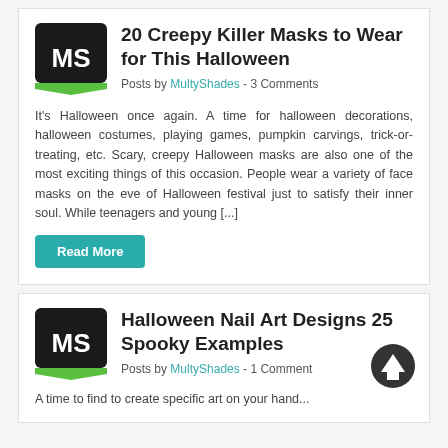20 Creepy Killer Masks to Wear for This Halloween
Posts by MultyShades  -  3 Comments
It's Halloween once again. A time for halloween decorations, halloween costumes, playing games, pumpkin carvings, trick-or-treating, etc. Scary, creepy Halloween masks are also one of the most exciting things of this occasion. People wear a variety of face masks on the eve of Halloween festival just to satisfy their inner soul. While teenagers and young [...]
Read More
Halloween Nail Art Designs 25 Spooky Examples
Posts by MultyShades  -  1 Comment
A time to find to create specific art on your hand...